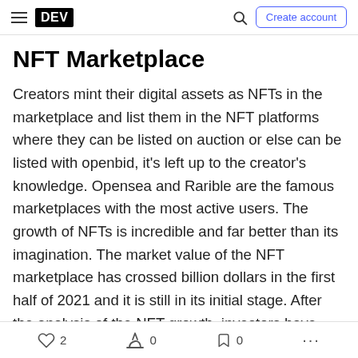DEV | Create account
NFT Marketplace
Creators mint their digital assets as NFTs in the marketplace and list them in the NFT platforms where they can be listed on auction or else can be listed with openbid, it's left up to the creator's knowledge. Opensea and Rarible are the famous marketplaces with the most active users. The growth of NFTs is incredible and far better than its imagination. The market value of the NFT marketplace has crossed billion dollars in the first half of 2021 and it is still in its initial stage. After the analysis of the NFT growth, investors have started
2  0  0  ...